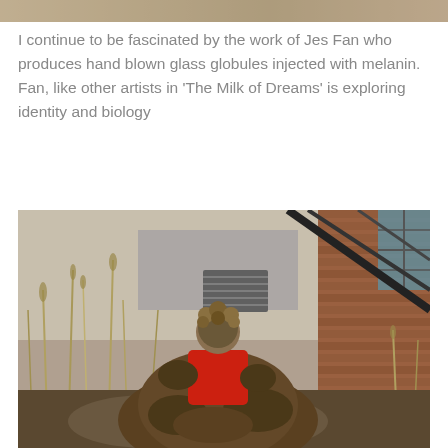[Figure (photo): Partial top strip of a photograph showing a sandy or stone-colored textured surface.]
I continue to be fascinated by the work of Jes Fan who produces hand blown glass globules injected with melanin. Fan, like other artists in ‘The Milk of Dreams’ is exploring identity and biology
[Figure (photo): A figure wearing a bright red top and what appears to be a large, muddy or earthy sculptural lower body, standing outdoors in front of a weathered brick wall with grasses and dry reeds around them. A black metal staircase structure is visible on the right side. A ventilation grate is mounted on the wall.]